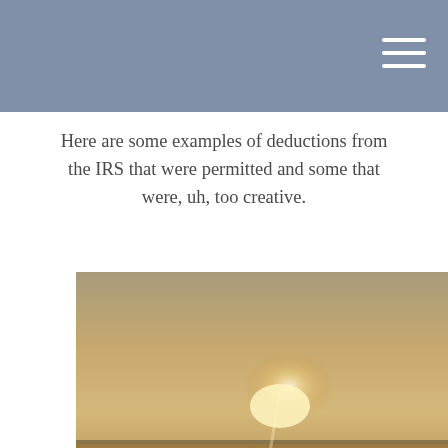Here are some examples of deductions from the IRS that were permitted and some that were, uh, too creative.
[Figure (photo): A person standing in an open field with arms outstretched, backlit by sunlight, with golden grass in the foreground and mountains/horizon in the background.]